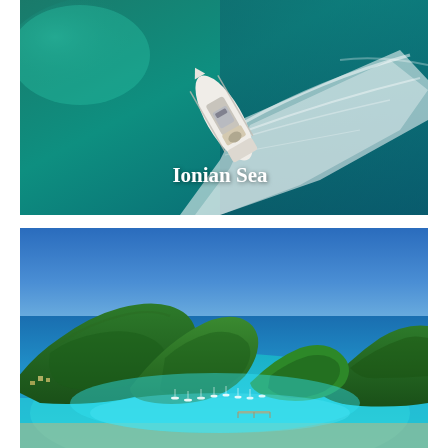[Figure (photo): Aerial view of a white luxury yacht speeding across deep teal/turquoise sea water, leaving a white wake trail behind it. Viewed from directly above.]
[Figure (photo): Aerial panoramic view of a bay in the Ionian Sea with lush green forested islands, bright turquoise and blue water, and numerous sailing boats anchored in the bay.]